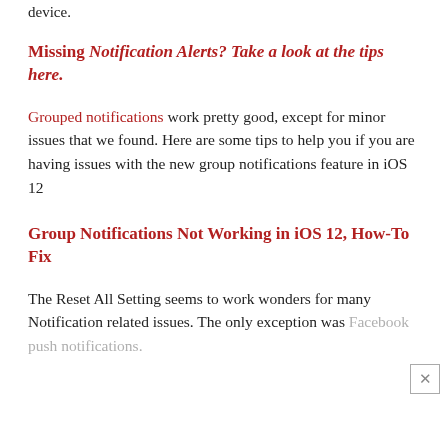device.
Missing Notification Alerts? Take a look at the tips here.
Grouped notifications work pretty good, except for minor issues that we found. Here are some tips to help you if you are having issues with the new group notifications feature in iOS 12
Group Notifications Not Working in iOS 12, How-To Fix
The Reset All Setting seems to work wonders for many Notification related issues. The only exception was Facebook push notifications.